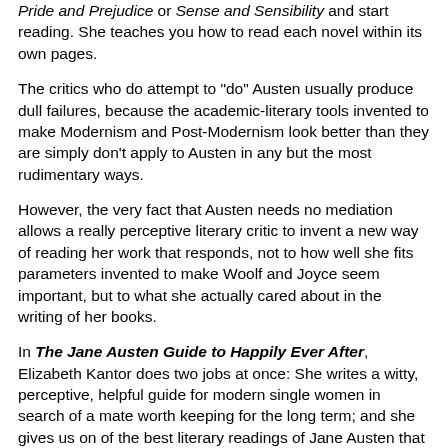Pride and Prejudice or Sense and Sensibility and start reading. She teaches you how to read each novel within its own pages.
The critics who do attempt to "do" Austen usually produce dull failures, because the academic-literary tools invented to make Modernism and Post-Modernism look better than they are simply don't apply to Austen in any but the most rudimentary ways.
However, the very fact that Austen needs no mediation allows a really perceptive literary critic to invent a new way of reading her work that responds, not to how well she fits parameters invented to make Woolf and Joyce seem important, but to what she actually cared about in the writing of her books.
In The Jane Austen Guide to Happily Ever After, Elizabeth Kantor does two jobs at once: She writes a witty, perceptive, helpful guide for modern single women in search of a mate worth keeping for the long term; and she gives us on of the best literary readings of Jane Austen that I have ever read.
It's one of the mistakes made by most literary critics today -- they are all about the manner and generally ignore the matter: what the writer is actually talking about.